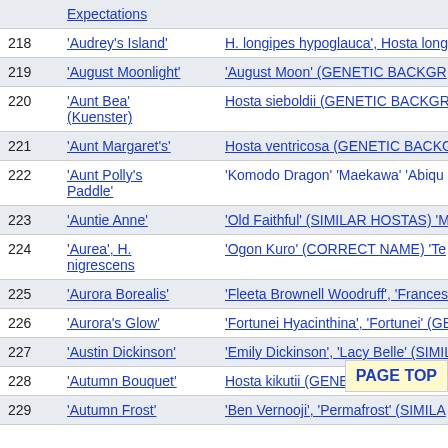| # | Name | Related/Description |
| --- | --- | --- |
|  | Expectations |  |
| 218 | 'Audrey's Island' | H. longipes hypoglauca', Hosta long Robusta', 'Fortunei', Hosta sieboldii |
| 219 | 'August Moonlight' | 'August Moon' (GENETIC BACKGR |
| 220 | 'Aunt Bea' (Kuenster) | Hosta sieboldii (GENETIC BACKGR |
| 221 | 'Aunt Margaret's' | Hosta ventricosa (GENETIC BACKG |
| 222 | 'Aunt Polly's Paddle' | 'Komodo Dragon' 'Maekawa' 'Abiqu 'Fortunei Gigantea', 'Fortunei', Hosta |
| 223 | 'Auntie Anne' | 'Old Faithful' (SIMILAR HOSTAS) 'M |
| 224 | 'Aurea', H. nigrescens | 'Ogon Kuro' (CORRECT NAME) 'Te |
| 225 | 'Aurora Borealis' | 'Fleeta Brownell Woodruff', 'Frances (SIMILAR HOSTAS) 'Aurore Boreale BACKGROUND) |
| 226 | 'Aurora's Glow' | 'Fortunei Hyacinthina', 'Fortunei' (GB |
| 227 | 'Austin Dickinson' | 'Emily Dickinson', 'Lacy Belle' (SIMIL BACKGROUND) |
| 228 | 'Autumn Bouquet' | Hosta kikutii (GENE |
| 229 | 'Autumn Frost' | 'Ben Vernooji', 'Permafrost' (SIMILA |